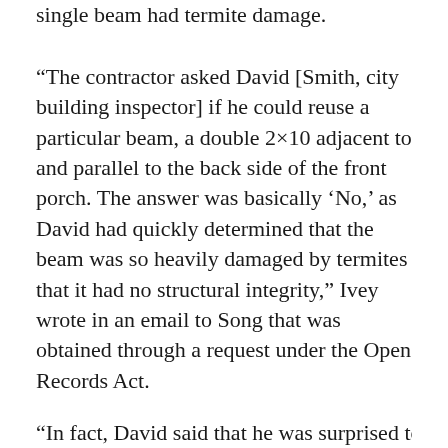single beam had termite damage.
“The contractor asked David [Smith, city building inspector] if he could reuse a particular beam, a double 2×10 adjacent to and parallel to the back side of the front porch. The answer was basically ‘No,’ as David had quickly determined that the beam was so heavily damaged by termites that it had no structural integrity,” Ivey wrote in an email to Song that was obtained through a request under the Open Records Act.
“In fact, David said that he was surprised to et...